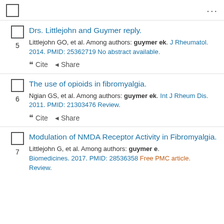5. Drs. Littlejohn and Guymer reply. Littlejohn GO, et al. Among authors: guymer ek. J Rheumatol. 2014. PMID: 25362719 No abstract available.
6. The use of opioids in fibromyalgia. Ngian GS, et al. Among authors: guymer ek. Int J Rheum Dis. 2011. PMID: 21303476 Review.
7. Modulation of NMDA Receptor Activity in Fibromyalgia. Littlejohn G, et al. Among authors: guymer e. Biomedicines. 2017. PMID: 28536358 Free PMC article. Review.